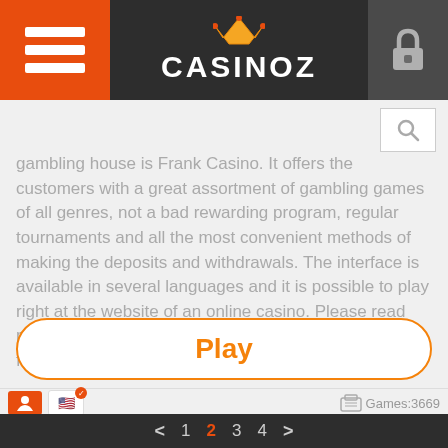CASINOZ
gambling house is Frank Casino. It offers the customers with a great assortment of gambling games of all genres, not a bad rewarding program, regular tournaments and all the most convenient methods of making the deposits and withdrawals. The interface is available in several languages and it is possible to play right at the website of an online casino. Please read more about all the particularities of this game in the following article.
Play
Games:3669   < 1 2 3 4 >